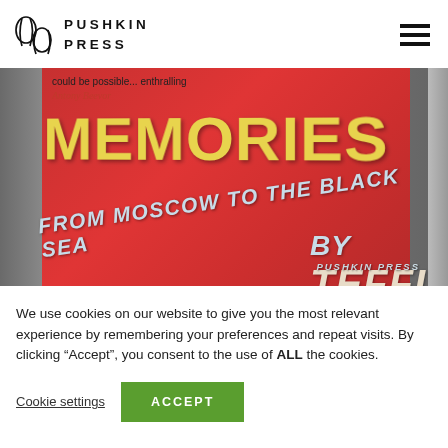PUSHKIN PRESS
[Figure (photo): Close-up of a book cover titled 'Memories: From Moscow to the Black Sea by Teffi', published by Pushkin Press. The cover features large gold lettering on a red background. A quote reads 'could be possible... enthralling' attributed to Antony Beevor in red italic text.]
We use cookies on our website to give you the most relevant experience by remembering your preferences and repeat visits. By clicking “Accept”, you consent to the use of ALL the cookies.
Cookie settings   ACCEPT